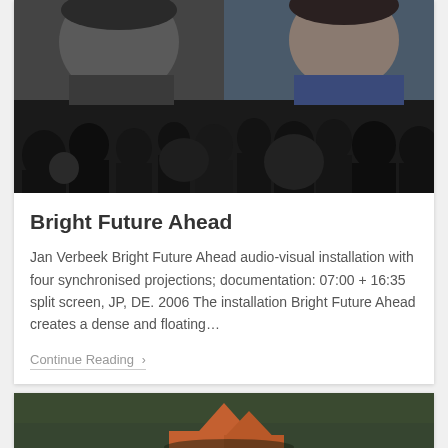[Figure (photo): Dark photograph of a crowd of people viewed from behind, watching large projected video/image displays on a wall showing faces of people. The scene appears to be an art installation or exhibition event.]
Bright Future Ahead
Jan Verbeek Bright Future Ahead audio-visual installation with four synchronised projections; documentation: 07:00 + 16:35 split screen, JP, DE. 2006 The installation Bright Future Ahead creates a dense and floating…
Continue Reading ›
[Figure (photo): Partial view of an outdoor photograph showing what appears to be terracotta or orange-colored geometric/sculptural objects on grass, partially cut off at the bottom of the page.]